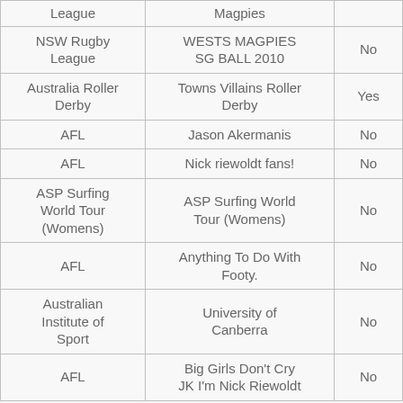| League | Magpies |  |
| --- | --- | --- |
| NSW Rugby League | WESTS MAGPIES SG BALL 2010 | No |
| Australia Roller Derby | Towns Villains Roller Derby | Yes |
| AFL | Jason Akermanis | No |
| AFL | Nick riewoldt fans! | No |
| ASP Surfing World Tour (Womens) | ASP Surfing World Tour (Womens) | No |
| AFL | Anything To Do With Footy. | No |
| Australian Institute of Sport | University of Canberra | No |
| AFL | Big Girls Don't Cry JK I'm Nick Riewoldt | No |